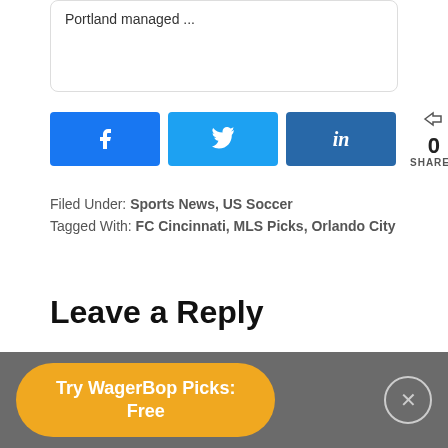Portland managed ...
[Figure (other): Social share buttons: Facebook (blue), Twitter (light blue), LinkedIn (dark blue), and a share count showing 0 SHARES]
Filed Under: Sports News, US Soccer
Tagged With: FC Cincinnati, MLS Picks, Orlando City
Leave a Reply
Your email address will not be published. Required fields are marked *
Try WagerBop Picks: Free